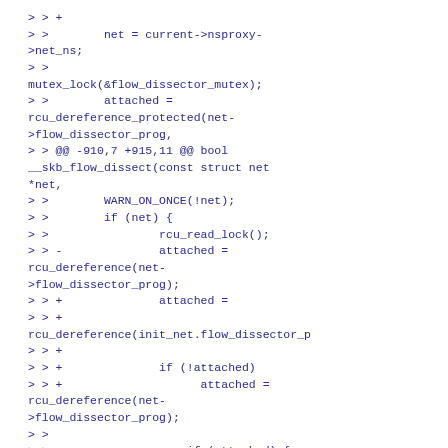> > +
> >        net = current->nsproxy->net_ns;
> >   mutex_lock(&flow_dissector_mutex);
> >        attached = rcu_dereference_protected(net->flow_dissector_prog,
> > @@ -910,7 +915,11 @@ bool __skb_flow_dissect(const struct net *net,
> >        WARN_ON_ONCE(!net);
> >        if (net) {
> >                rcu_read_lock();
> > -              attached = rcu_dereference(net->flow_dissector_prog);
> > +              attached =
> > +
> > +   rcu_dereference(init_net.flow_dissector_p
> > +
> > +              if (!attached)
> > +                    attached = rcu_dereference(net->flow_dissector_prog);
> >
> >                    if (attached) {
> >                          struct bpf_flow_keys flow_keys;
> >